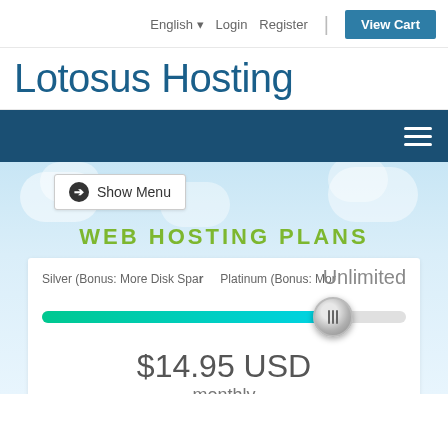English  Login  Register  View Cart
Lotosus Hosting
[Figure (screenshot): Dark blue navigation bar with hamburger menu icon on right]
[Figure (screenshot): Web hosting plans section with cloud background, Show Menu button, WEB HOSTING PLANS heading, plan selector slider showing Silver, Platinum and Unlimited options, and pricing of $14.95 USD monthly]